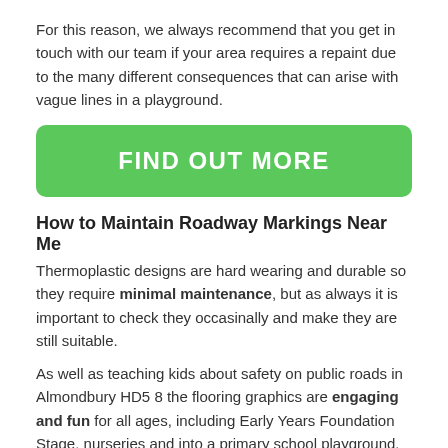For this reason, we always recommend that you get in touch with our team if your area requires a repaint due to the many different consequences that can arise with vague lines in a playground.
[Figure (other): Green button with white bold text reading FIND OUT MORE]
How to Maintain Roadway Markings Near Me
Thermoplastic designs are hard wearing and durable so they require minimal maintenance, but as always it is important to check they occasinally and make they are still suitable.
As well as teaching kids about safety on public roads in Almondbury HD5 8 the flooring graphics are engaging and fun for all ages, including Early Years Foundation Stage, nurseries and into a primary school playground.
The thermoplastic markings can be used as a fitness circuit, and extra graphics like numbers, letters, animals and cartoon characters could be added on as well.